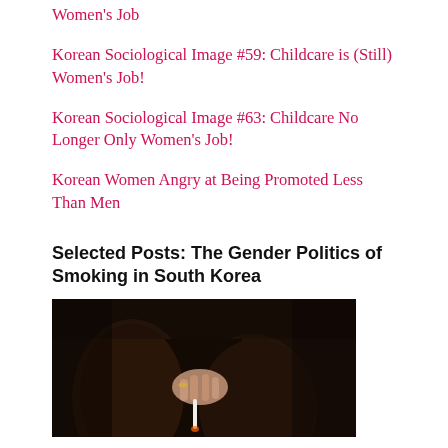Women's Job
Korean Sociological Image #59: Childcare is (Still) Women's Job!
Korean Sociological Image #63: Childcare No Longer Only Women's Job!
Korean Women Angry at Being Promoted Less Than Men
Selected Posts: The Gender Politics of Smoking in South Korea
[Figure (photo): A dark photograph showing a woman's hand holding a cigarette, with legs visible in dark stockings in the background.]